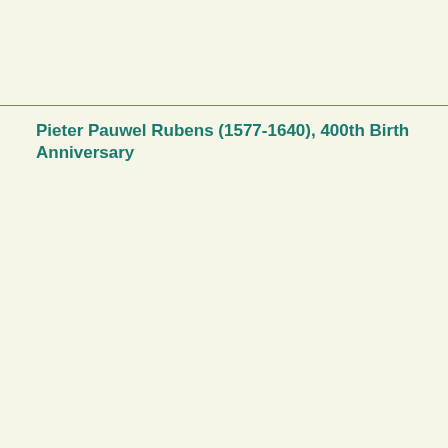Pieter Pauwel Rubens (1577-1640), 400th Birth Anniversary